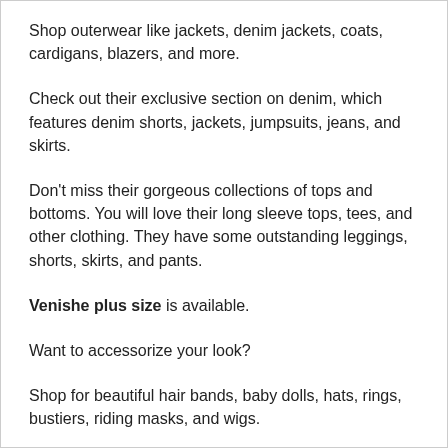Shop outerwear like jackets, denim jackets, coats, cardigans, blazers, and more.
Check out their exclusive section on denim, which features denim shorts, jackets, jumpsuits, jeans, and skirts.
Don't miss their gorgeous collections of tops and bottoms. You will love their long sleeve tops, tees, and other clothing. They have some outstanding leggings, shorts, skirts, and pants.
Venishe plus size is available.
Want to accessorize your look?
Shop for beautiful hair bands, baby dolls, hats, rings, bustiers, riding masks, and wigs.